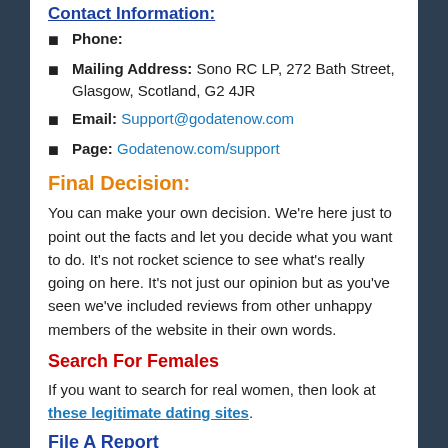Contact Information:
Phone:
Mailing Address: Sono RC LP, 272 Bath Street, Glasgow, Scotland, G2 4JR
Email: Support@godatenow.com
Page: Godatenow.com/support
Final Decision:
You can make your own decision. We're here just to point out the facts and let you decide what you want to do. It's not rocket science to see what's really going on here. It's not just our opinion but as you've seen we've included reviews from other unhappy members of the website in their own words.
Search For Females
If you want to search for real women, then look at these legitimate dating sites.
File A Report
Contact the Better Business Bureau and file a complaint if you feel that you have been scammed or ripped off.